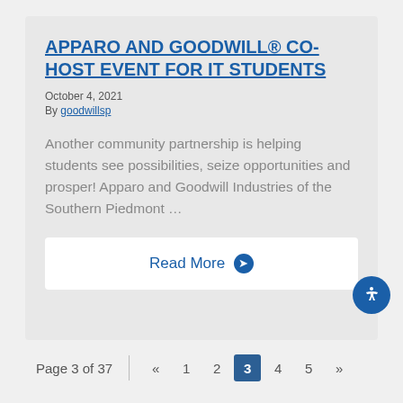APPARO AND GOODWILL® CO-HOST EVENT FOR IT STUDENTS
October 4, 2021
By goodwillsp
Another community partnership is helping students see possibilities, seize opportunities and prosper! Apparo and Goodwill Industries of the Southern Piedmont …
Read More
Page 3 of 37  «  1  2  3  4  5  »